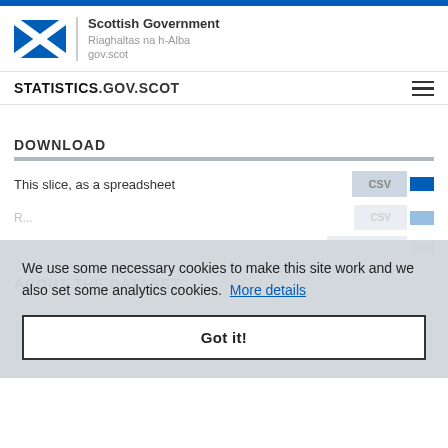[Figure (logo): Scottish Government logo with saltire flag and text: Scottish Government, Riaghaltas na h-Alba, gov.scot]
STATISTICS.GOV.SCOT
DOWNLOAD
This slice, as a spreadsheet
We use some necessary cookies to make this site work and we also set some analytics cookies. More details
Got it!
ABOUT THE DATASET